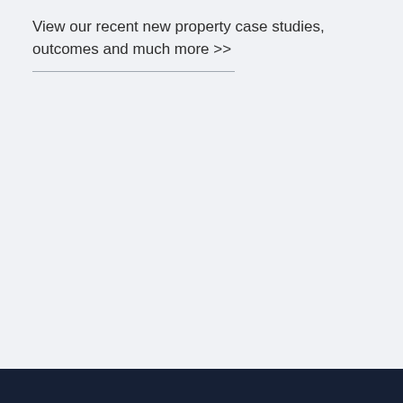View our recent new property case studies, outcomes and much more >>